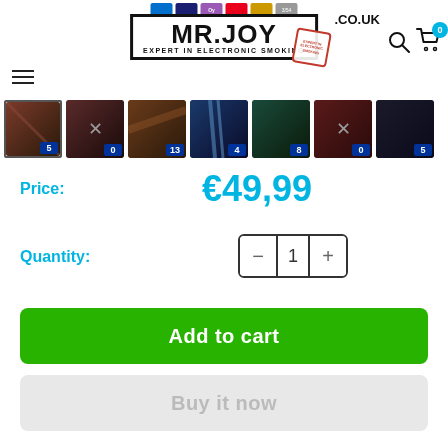[Figure (screenshot): E-commerce product page for MR.JOY Expert in Electronic Smoking (.CO.UK). Shows navigation header with payment icons, hamburger menu, logo, search icon, and cart (0). Below are 7 product thumbnail images with quantity badges (5, 0, 13, 4, 8, 0, 5). Price shown as €49,99 in cyan. Quantity selector with minus/plus controls showing 1. Green 'Add to cart' button and grey 'Buy it now' button.]
.CO.UK  MR.JOY EXPERT IN ELECTRONIC SMOKING
Price:
€49,99
Quantity:
1
Add to cart
Buy it now